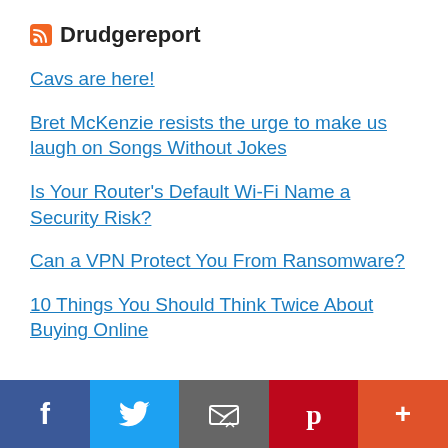Drudgereport
Cavs are here!
Bret McKenzie resists the urge to make us laugh on Songs Without Jokes
Is Your Router's Default Wi-Fi Name a Security Risk?
Can a VPN Protect You From Ransomware?
10 Things You Should Think Twice About Buying Online
Sponsored Links
District CPI(M) to tighten monitoring of members
[Figure (infographic): Social share bar with Facebook, Twitter, Email, Pinterest, and More buttons]